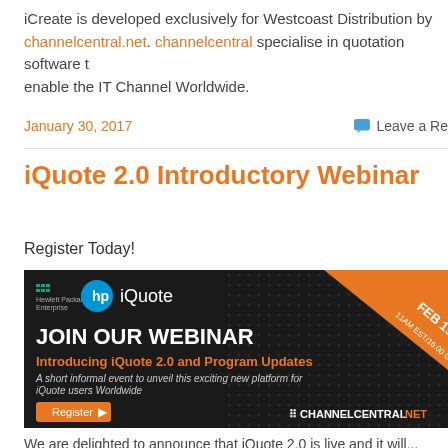iCreate is developed exclusively for Westcoast Distribution by channelcentral.net. channelcentral specialise in quotation software to enable the IT Channel Worldwide.
January 30, 2017    Leave a Re...
iQuote 2.0 Introductory Webinar
Register Today!
[Figure (illustration): Dark-themed webinar banner for HP iQuote. Shows JOIN OUR WEBINAR headline, Introducing iQuote 2.0 and Program Updates subtitle, A short informal event to unveil this exciting new platform for iQuote users Worldwide, Register button, Hewlett Packard Enterprise and HP iQuote logos, FEB 1st 11AM EST/16:00 GMT in orange corner ribbon, CHANNELCENTRAL.NET logo bottom right.]
We are delighted to announce that iQuote 2.0 is live and it will...